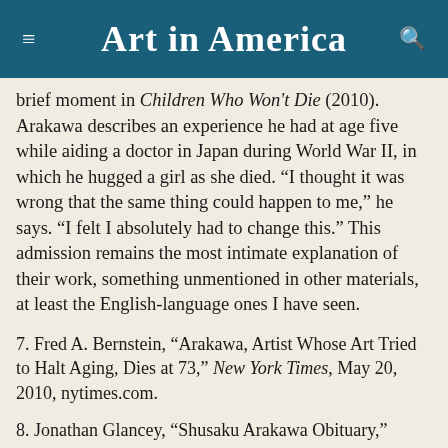Art in America
brief moment in Children Who Won't Die (2010). Arakawa describes an experience he had at age five while aiding a doctor in Japan during World War II, in which he hugged a girl as she died. “I thought it was wrong that the same thing could happen to me,” he says. “I felt I absolutely had to change this.” This admission remains the most intimate explanation of their work, something unmentioned in other materials,  at least the English-language ones I have seen.
7. Fred A. Bernstein, “Arakawa, Artist Whose Art Tried to Halt Aging, Dies at 73,” New York Times, May 20, 2010, nytimes.com.
8. Jonathan Glancey, “Shusaku Arakawa Obituary,” Guardian, June 16, 2010, theguardian.com.
9. Arthur C. Danto, “Passages: Arakawa,” Artforum,